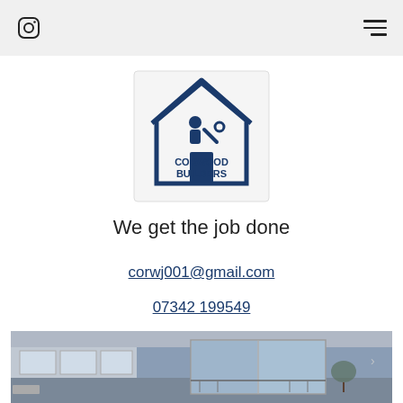[Figure (logo): Corwood Builders logo: dark blue house outline with a person silhouette and wrench, text 'CORWOOD BUILDERS' below]
We get the job done
corwj001@gmail.com
07342 199549
[Figure (photo): Interior photo of an empty modern room with large sliding glass doors/windows overlooking a balcony with water view, blue-grey tones]